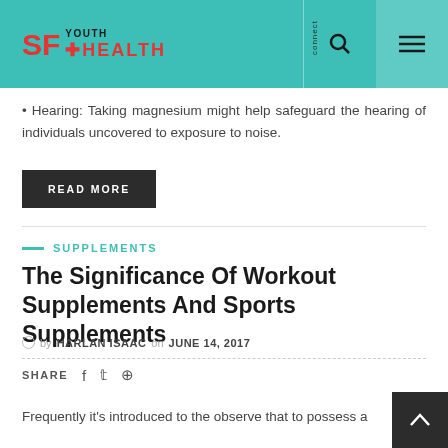SF Youth Health
• Hearing: Taking magnesium might help safeguard the hearing of individuals uncovered to exposure to noise.
READ MORE
SUPPLEMENTS
The Significance Of Workout Supplements And Sports Supplements
by HARLAN ISAAC on JUNE 14, 2017
SHARE
Frequently it's introduced to the observe that to possess a